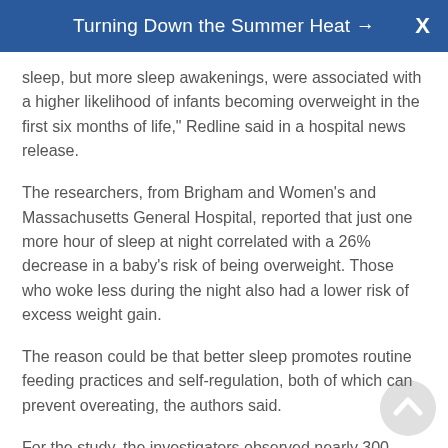Turning Down the Summer Heat →
sleep, but more sleep awakenings, were associated with a higher likelihood of infants becoming overweight in the first six months of life," Redline said in a hospital news release.
The researchers, from Brigham and Women's and Massachusetts General Hospital, reported that just one more hour of sleep at night correlated with a 26% decrease in a baby's risk of being overweight. Those who woke less during the night also had a lower risk of excess weight gain.
The reason could be that better sleep promotes routine feeding practices and self-regulation, both of which can prevent overeating, the authors said.
For the study, the investigators observed nearly 300